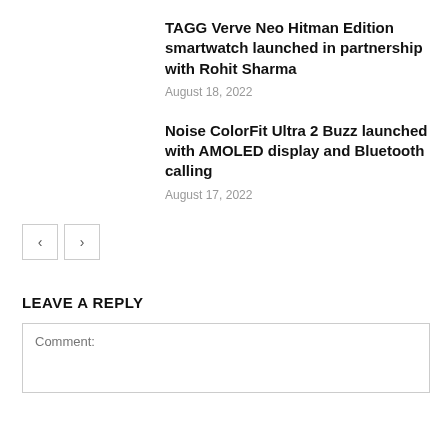TAGG Verve Neo Hitman Edition smartwatch launched in partnership with Rohit Sharma
August 18, 2022
Noise ColorFit Ultra 2 Buzz launched with AMOLED display and Bluetooth calling
August 17, 2022
LEAVE A REPLY
Comment: